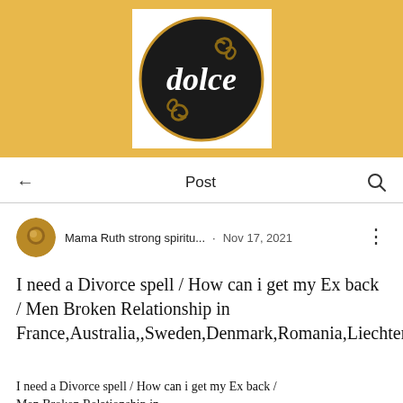[Figure (logo): Dolce logo: black circle with gold swirl decorations and white script text reading 'dolce', on a golden/yellow background banner]
Post
Mama Ruth strong spiritu... · Nov 17, 2021
I need a Divorce spell / How can i get my Ex back / Men Broken Relationship in France,Australia,,Sweden,Denmark,Romania,LiechtensteinPoland
I need a Divorce spell / How can i get my Ex back / Men Broken Relationship in...